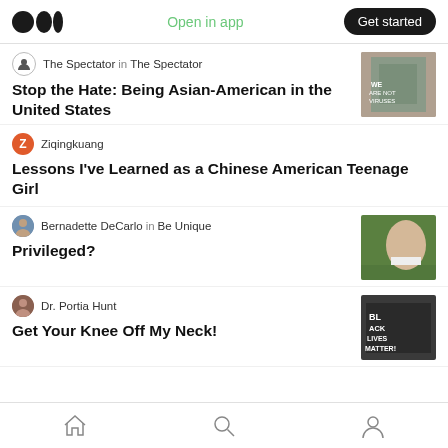Medium app header with logo, Open in app, Get started
The Spectator in The Spectator
Stop the Hate: Being Asian-American in the United States
Ziqingkuang
Lessons I've Learned as a Chinese American Teenage Girl
Bernadette DeCarlo in Be Unique
Privileged?
Dr. Portia Hunt
Get Your Knee Off My Neck!
Home | Search | Profile navigation icons